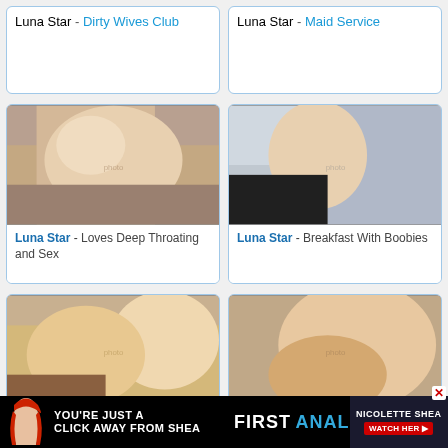Luna Star - Dirty Wives Club
Luna Star - Maid Service
[Figure (photo): Blonde woman on bed]
Luna Star - Loves Deep Throating and Sex
[Figure (photo): Blonde woman in kitchen wearing black stockings]
Luna Star - Breakfast With Boobies
[Figure (photo): Blonde woman photo]
Luna Star - Gets D...
[Figure (photo): Blonde woman close-up]
Zoey Monroe - Squirting
YOU'RE JUST A CLICK AWAY FROM SHEA  FIRST ANAL  NICOLETTE SHEA  WATCH HER